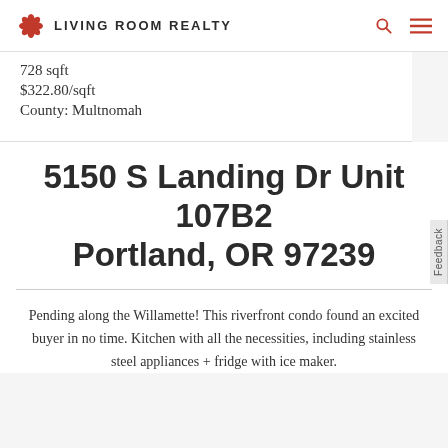LIVING ROOM REALTY
728 sqft
$322.80/sqft
County: Multnomah
5150 S Landing Dr Unit 107B2 Portland, OR 97239
Pending along the Willamette! This riverfront condo found an excited buyer in no time. Kitchen with all the necessities, including stainless steel appliances + fridge with ice maker.